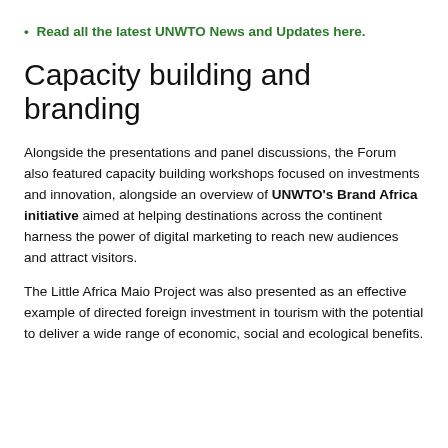Read all the latest UNWTO News and Updates here.
Capacity building and branding
Alongside the presentations and panel discussions, the Forum also featured capacity building workshops focused on investments and innovation, alongside an overview of UNWTO's Brand Africa initiative aimed at helping destinations across the continent harness the power of digital marketing to reach new audiences and attract visitors.
The Little Africa Maio Project was also presented as an effective example of directed foreign investment in tourism with the potential to deliver a wide range of economic, social and ecological benefits.